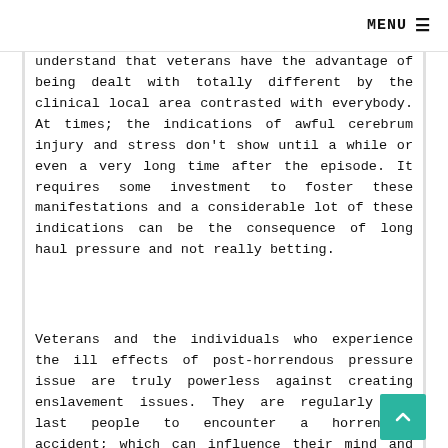MENU ☰
understand that veterans have the advantage of being dealt with totally different by the clinical local area contrasted with everybody. At times; the indications of awful cerebrum injury and stress don't show until a while or even a very long time after the episode. It requires some investment to foster these manifestations and a considerable lot of these indications can be the consequence of long haul pressure and not really betting.
Veterans and the individuals who experience the ill effects of post-horrendous pressure issue are truly powerless against creating enslavement issues. They are regularly the last people to encounter a horrendous accident; which can influence their mind and cause them to shape